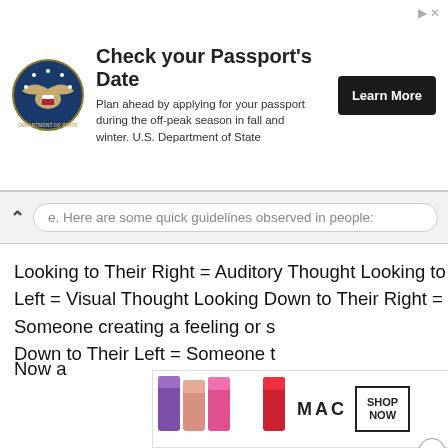[Figure (screenshot): US Department of State seal/logo circular badge]
Check your Passport's Date
Plan ahead by applying for your passport during the off-peak season in fall and winter. U.S. Department of State
[Figure (screenshot): Black 'Learn More' button for US State Department passport ad]
e. Here are some quick guidelines observed in people:
Looking to Their Right = Auditory Thought Looking to Their Left = Visual Thought Looking Down to Their Right = Someone creating a feeling or s
Down to Their Left = Someone t
[Figure (screenshot): Black video player overlay with loading spinner circle and CLOSE button]
This can help you detect a lie. If
and they look down to the right
memory instead of remembering something. Note of caution: I have not been able to find a study replicating this effect so only use with caution!
[Figure (screenshot): MAC Cosmetics advertisement showing lipsticks with SHOP NOW button]
Now a